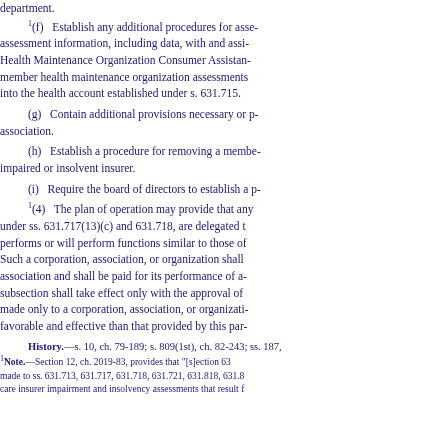department.
1(f) Establish any additional procedures for assessment information, including data, with and assisting the Health Maintenance Organization Consumer Assistance member health maintenance organization assessments into the health account established under s. 631.715.
(g) Contain additional provisions necessary or proper for the association.
(h) Establish a procedure for removing a member insurer that is an impaired or insolvent insurer.
(i) Require the board of directors to establish a plan.
1(4) The plan of operation may provide that any under ss. 631.717(13)(c) and 631.718, are delegated to performs or will perform functions similar to those of. Such a corporation, association, or organization shall association and shall be paid for its performance of any. subsection shall take effect only with the approval of made only to a corporation, association, or organization favorable and effective than that provided by this part.
History.—s. 10, ch. 79-189; s. 809(1st), ch. 82-243; ss. 187,
1Note.—Section 12, ch. 2019-83, provides that "[s]ection 63 made to ss. 631.713, 631.717, 631.718, 631.721, 631.818, 631.8 care insurer impairment and insolvency assessments that result f